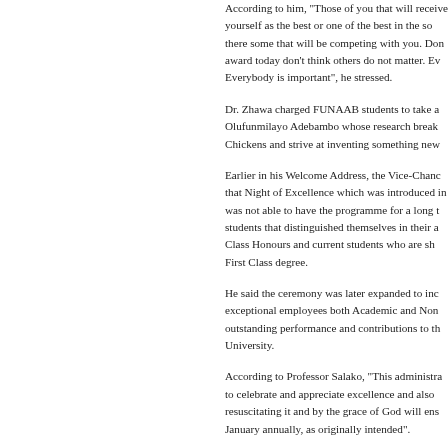According to him, "Those of you that will receive yourself as the best or one of the best in the so there some that will be competing with you. Don award today don't think others do not matter. Ev Everybody is important", he stressed.
Dr. Zhawa charged FUNAAB students to take a Olufunmilayo Adebambo whose research break Chickens and strive at inventing something new
Earlier in his Welcome Address, the Vice-Chanc that Night of Excellence which was introduced in was not able to have the programme for a long t students that distinguished themselves in their a Class Honours and current students who are sh First Class degree.
He said the ceremony was later expanded to inc exceptional employees both Academic and Non outstanding performance and contributions to th University.
According to Professor Salako, "This administra to celebrate and appreciate excellence and also resuscitating it and by the grace of God will ens January annually, as originally intended".